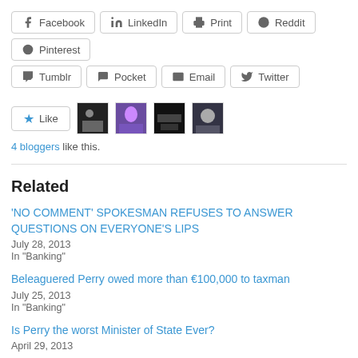Facebook, LinkedIn, Print, Reddit, Pinterest
Tumblr, Pocket, Email, Twitter
[Figure (other): Like button with star icon and 4 blogger avatar thumbnails]
4 bloggers like this.
Related
'NO COMMENT' SPOKESMAN REFUSES TO ANSWER QUESTIONS ON EVERYONE'S LIPS
July 28, 2013
In "Banking"
Beleaguered Perry owed more than €100,000 to taxman
July 25, 2013
In "Banking"
Is Perry the worst Minister of State Ever?
April 29, 2013